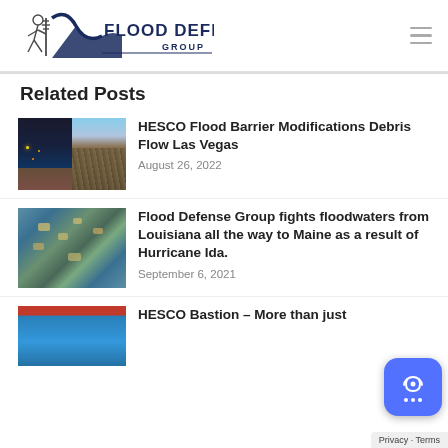Flood Defense Group
Related Posts
[Figure (photo): Two side-by-side thumbnail images showing flood barrier and debris flow at night and daytime]
HESCO Flood Barrier Modifications Debris Flow Las Vegas
August 26, 2022
[Figure (photo): Aerial view of flooded area with houses surrounded by floodwaters]
Flood Defense Group fights floodwaters from Louisiana all the way to Maine as a result of Hurricane Ida.
September 6, 2021
[Figure (photo): Partial thumbnail showing HESCO Bastion barrier with red top]
HESCO Bastion – More than just